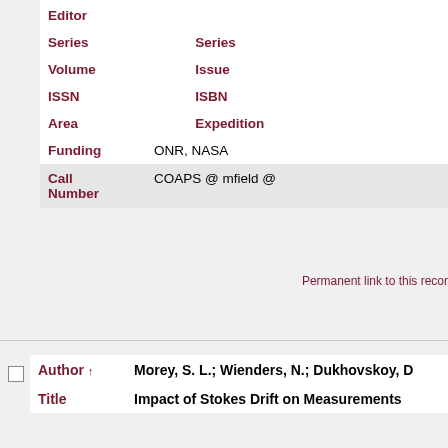| Field | Value | Field2 | Value2 |
| --- | --- | --- | --- |
| Editor |  |  |  |
| Series |  | Series |  |
| Volume |  | Issue |  |
| ISSN |  | ISBN |  |
| Area |  | Expedition |  |
| Funding | ONR, NASA |  |  |
| Call Number | COAPS @ mfield @ |  |  |
Permanent link to this recor
| Author ↑ | Morey, S. L.; Wienders, N.; Dukhovskoy, D |
| --- | --- |
| Title | Impact of Stokes Drift on Measurements |